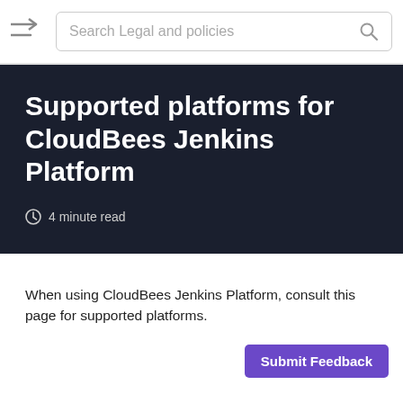Search Legal and policies
Supported platforms for CloudBees Jenkins Platform
4 minute read
When using CloudBees Jenkins Platform, consult this page for supported platforms.